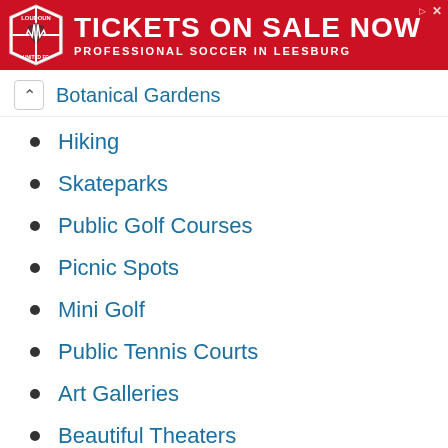[Figure (infographic): Red advertisement banner for Loudoun soccer tickets. Logo on left, large white text 'TICKETS ON SALE NOW' and subtitle 'PROFESSIONAL SOCCER IN LEESBURG'.]
Botanical Gardens
Hiking
Skateparks
Public Golf Courses
Picnic Spots
Mini Golf
Public Tennis Courts
Art Galleries
Beautiful Theaters
Science Centers
Historical Sites